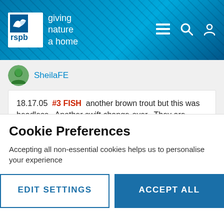[Figure (screenshot): RSPB website header with logo showing a bird silhouette and text 'giving nature a home', blue cracked-texture background, navigation icons (menu, search, user) on the right]
SheilaFE
18.17.05  #3 FISH  another brown trout but this was headless.  Another swift change-over.  They are becoming so professional!
[Figure (photo): Bird (osprey) in flight with wings fully spread against a blue cloudy sky, viewed from below/front]
Cookie Preferences
Accepting all non-essential cookies helps us to personalise your experience
EDIT SETTINGS
ACCEPT ALL